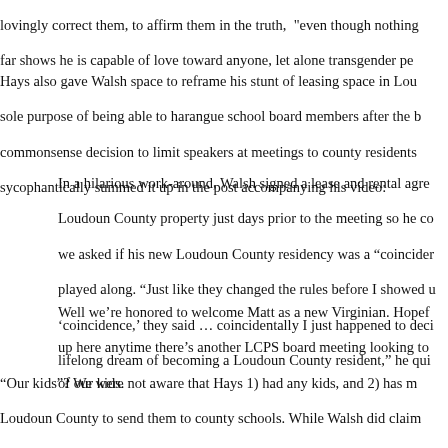lovingly correct them, to affirm them in the truth, "even though nothing far shows he is capable of love toward anyone, let alone transgender pe...
Hays also gave Walsh space to reframe his stunt of leasing space in Lou... sole purpose of being able to harangue school board members after the b... commonsense decision to limit speakers at meetings to county residents... sycophantically summed it up in the post accompanying his video:
In a hilarious work-around, Walsh signed a lease and rental agree... Loudoun County property just days prior to the meeting so he co... we asked if his new Loudoun County residency was a “coincider... played along. “Just like they changed the rules before I showed u... ‘coincidence,’ they said … coincidentally I just happened to deci... lifelong dream of becoming a Loudoun County resident,” he qui...
Well we’re honored to welcome Matt as a new Virginian. Hopef... up here anytime there’s another LCPS board meeting looking to ... of our kids.
"Our kids"? We were not aware that Hays 1) had any kids, and 2) has m... Loudoun County to send them to county schools. While Walsh did claim... highly unlikely he uprooted her from his actual home in Tennessee to en... to pursue a hateful tranphobic vendetta -- which means he has abandone... stunt. Indeed, he simply paid a friend $1 to claim he was a Virginia resid... probably wouldn't hold up for tax purposes. Hays didn't ask for proof of... course.